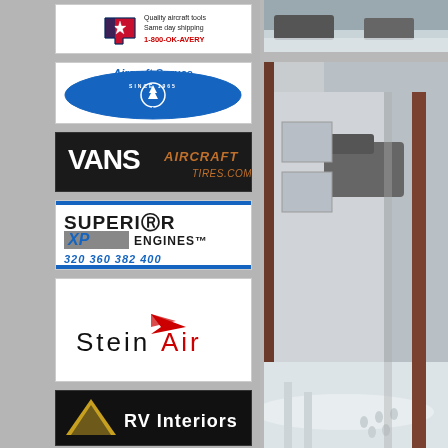[Figure (logo): Avery Tools ad: Quality aircraft tools, Same day shipping, 1-800-OK-AVERY with Texas state logo]
[Figure (logo): Aircraft Spruce & Specialty Co. logo - blue oval with tree, Since 1965]
[Figure (logo): VANS AIRCRAFT TIRES.COM logo - white and orange text on black background]
[Figure (logo): Superior XP Engines logo - 320 360 382 400 models listed]
[Figure (logo): SteinAir logo - black text with red wing graphic]
[Figure (logo): RV Interiors logo on dark background]
[Figure (photo): Top portion of snowy outdoor scene with truck]
[Figure (photo): Snow-covered pathway along the side of a metal building, with a truck visible and footprints in snow]